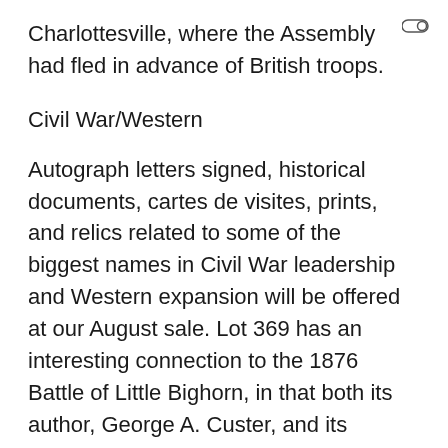Charlottesville, where the Assembly had fled in advance of British troops.
Civil War/Western
Autograph letters signed, historical documents, cartes de visites, prints, and relics related to some of the biggest names in Civil War leadership and Western expansion will be offered at our August sale. Lot 369 has an interesting connection to the 1876 Battle of Little Bighorn, in that both its author, George A. Custer, and its recipient, George W. Yates, were both 7th Cavalry officers killed there. Custer's letter, the text of which